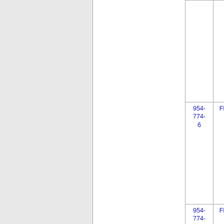| Number | ST | Name | ZIP | City |
| --- | --- | --- | --- | --- |
|  |  | PCS, LLC (AT&T Wireless) |  |  |
| 954-774-6 | FL | NEW CINGULAR WIRELESS PCS, LLC (AT&T Wireless) | 6214 | FTLAU |
| 954-774-7 | FL | CELLCO PARTNERSHIP DBA VERIZON | 6502 | FTLAU |